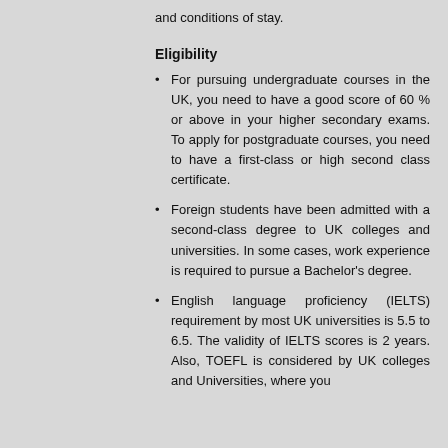and conditions of stay.
Eligibility
For pursuing undergraduate courses in the UK, you need to have a good score of 60 % or above in your higher secondary exams. To apply for postgraduate courses, you need to have a first-class or high second class certificate.
Foreign students have been admitted with a second-class degree to UK colleges and universities. In some cases, work experience is required to pursue a Bachelor's degree.
English language proficiency (IELTS) requirement by most UK universities is 5.5 to 6.5. The validity of IELTS scores is 2 years. Also, TOEFL is considered by UK colleges and Universities, where you